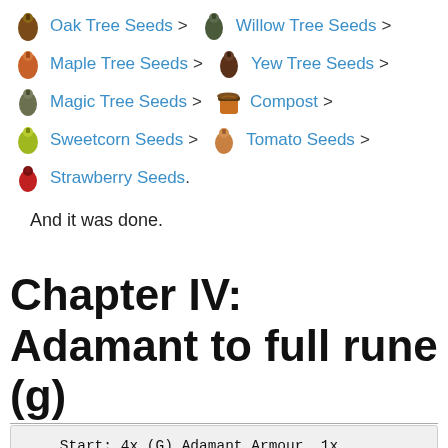Oak Tree Seeds > Willow Tree Seeds >
Maple Tree Seeds > Yew Tree Seeds >
Magic Tree Seeds > Compost >
Sweetcorn Seeds > Tomato Seeds >
Strawberry Seeds.
And it was done.
Chapter IV: Adamant to full rune (g)
Start: 4x (G) Adamant Armour, 1x (G) Rune Boots, 1x Rune Gloves, 70/40/70
    End: 5x (G) Rune Armour, 1x Paladin Gloves, Elite Amulet of Strength. 70/80/80, Sunset Rapier / Ancient